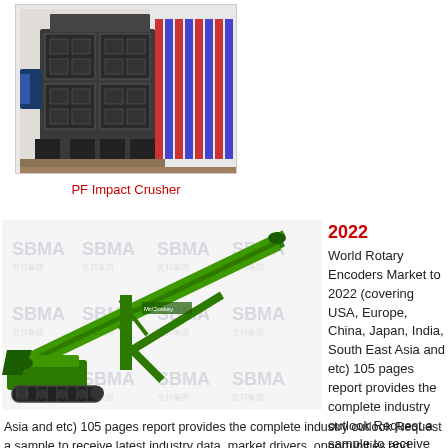[Figure (photo): PF Impact Crusher industrial machine, large dark grey crusher equipment on a factory floor, with colorful tarps/packaging visible in background]
PF Impact Crusher
[Figure (photo): Green mobile conveyor/stacker machine on tracks (crawler-mounted), with long inclined belt conveyor extended at angle, SBMA watermark overlay. Brand marking on machine body.]
2022
World Rotary Encoders Market to 2022 (covering USA, Europe, China, Japan, India, South East Asia and etc) 105 pages report provides the complete industry outlook Request a sample to receive latest industry data, market drivers, opportunities and threats faced by the market Players Buy full report at